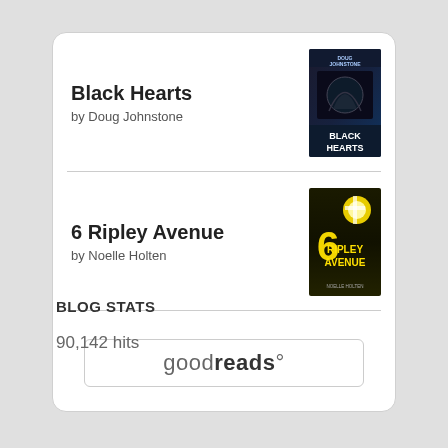Black Hearts
by Doug Johnstone
[Figure (illustration): Book cover of Black Hearts by Doug Johnstone — dark blue/purple tones with text]
6 Ripley Avenue
by Noelle Holten
[Figure (illustration): Book cover of 6 Ripley Avenue by Noelle Holten — dark background with yellow text]
[Figure (logo): Goodreads logo button with rounded rectangle border]
BLOG STATS
90,142 hits